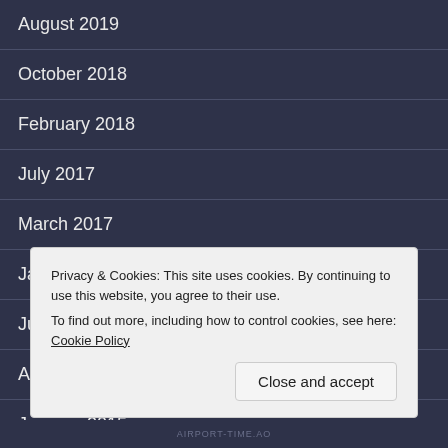August 2019
October 2018
February 2018
July 2017
March 2017
January 2016
June 2015
April 2015
January 2015
Privacy & Cookies: This site uses cookies. By continuing to use this website, you agree to their use.
To find out more, including how to control cookies, see here: Cookie Policy
AIRPORT-TIME.AO